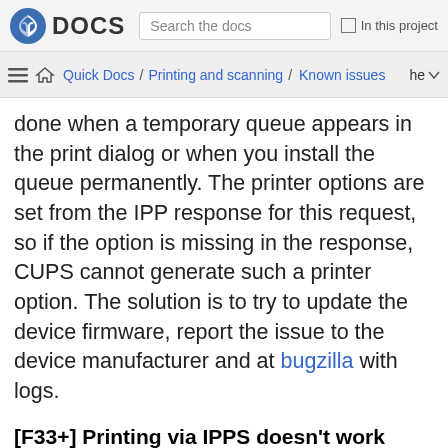DOCS | Search the docs | In this project
Quick Docs / Printing and scanning / Known issues | he
done when a temporary queue appears in the print dialog or when you install the queue permanently. The printer options are set from the IPP response for this request, so if the option is missing in the response, CUPS cannot generate such a printer option. The solution is to try to update the device firmware, report the issue to the device manufacturer and at bugzilla with logs.
[F33+] Printing via IPPS doesn’t work
Fedora 33 came up with a raised bar regarding crypto-policies, so SSL and older TLS protocols are